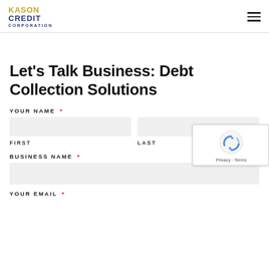KASON CREDIT CORPORATION
Let's Talk Business: Debt Collection Solutions
YOUR NAME *
FIRST
LAST
BUSINESS NAME *
YOUR EMAIL *